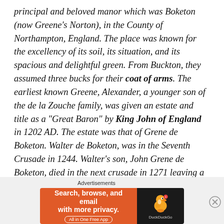principal and beloved manor which was Boketon (now Greene's Norton), in the County of Northampton, England. The place was known for the excellency of its soil, its situation, and its spacious and delightful green. From Buckton, they assumed three bucks for their coat of arms. The earliest known Greene, Alexander, a younger son of the de la Zouche family, was given an estate and title as a “Great Baron” by King John of England in 1202 AD. The estate was that of Grene de Boketon. Walter de Boketon, was in the Seventh Crusade in 1244. Walter’s son, John Grene de Boketon, died in the next crusade in 1271 leaving a year old son,
[Figure (other): DuckDuckGo advertisement banner: orange left section with text 'Search, browse, and email with more privacy. All in One Free App' and dark right section with DuckDuckGo duck logo and brand name.]